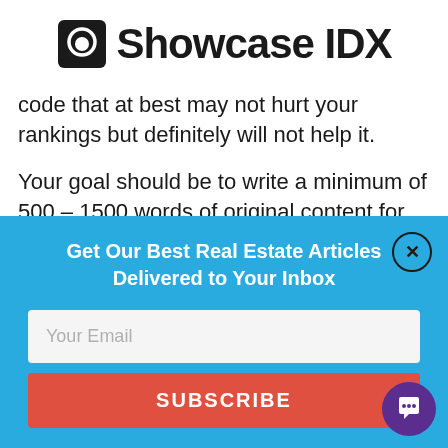Showcase IDX
code that at best may not hurt your rankings but definitely will not help it.
Your goal should be to write a minimum of 500 – 1500 words of original content for each hot sheet.
[Figure (screenshot): Popup overlay with blue background containing newsletter signup form with email input and subscribe button]
Get Our Best Real Estate Articles Delivered to Your Inbox
Your Email
SUBSCRIBE